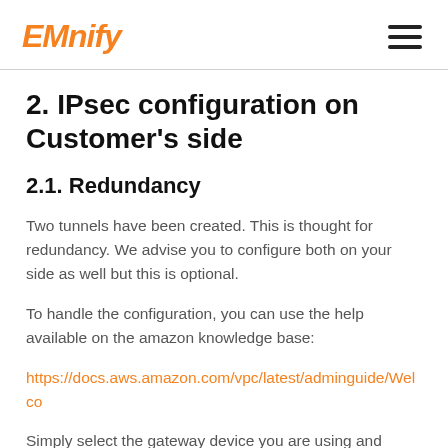EMnify
2. IPsec configuration on Customer's side
2.1. Redundancy
Two tunnels have been created. This is thought for redundancy. We advise you to configure both on your side as well but this is optional.
To handle the configuration, you can use the help available on the amazon knowledge base:
https://docs.aws.amazon.com/vpc/latest/adminguide/Welco
Simply select the gateway device you are using and apply